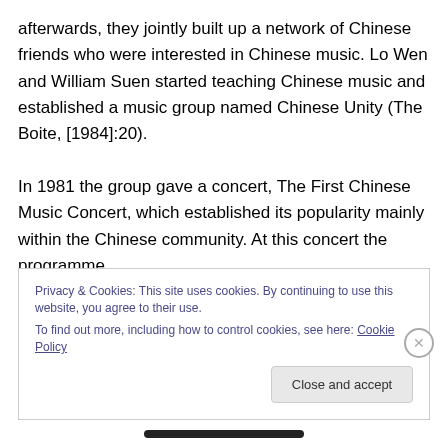afterwards, they jointly built up a network of Chinese friends who were interested in Chinese music. Lo Wen and William Suen started teaching Chinese music and established a music group named Chinese Unity (The Boite, [1984]:20).

In 1981 the group gave a concert, The First Chinese Music Concert, which established its popularity mainly within the Chinese community. At this concert the programme
Privacy & Cookies: This site uses cookies. By continuing to use this website, you agree to their use.
To find out more, including how to control cookies, see here: Cookie Policy